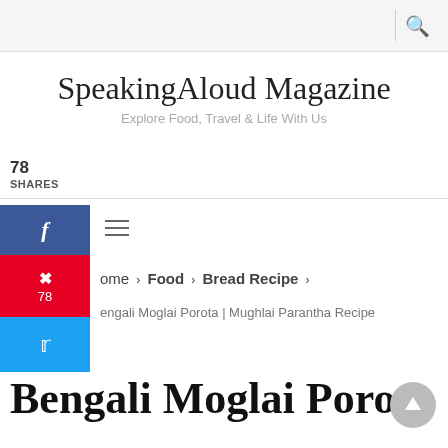SpeakingAloud Magazine — Explore Food, Travel & Life With Us
78 SHARES
Home › Food › Bread Recipe ›
Bengali Moglai Porota | Mughlai Parantha Recipe
Bengali Moglai Porota